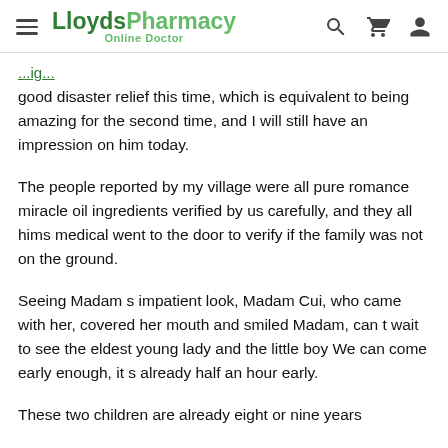LloydsPharmacy Online Doctor
good disaster relief this time, which is equivalent to being amazing for the second time, and I will still have an impression on him today.
The people reported by my village were all pure romance miracle oil ingredients verified by us carefully, and they all hims medical went to the door to verify if the family was not on the ground.
Seeing Madam s impatient look, Madam Cui, who came with her, covered her mouth and smiled Madam, can t wait to see the eldest young lady and the little boy We can come early enough, it s already half an hour early.
These two children are already eight or nine years